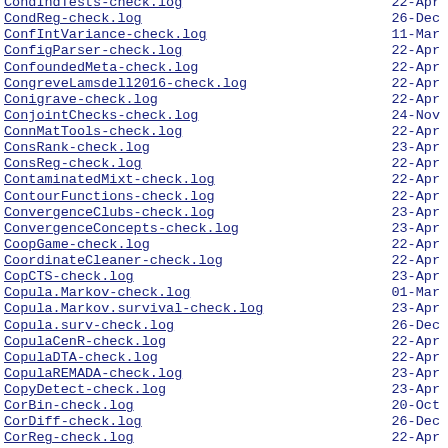CondIndTests-check.log  22-Apr
CondReg-check.log  26-Dec
ConfIntVariance-check.log  11-Mar
ConfigParser-check.log  22-Apr
ConfoundedMeta-check.log  22-Apr
CongreveLamsdell2016-check.log  22-Apr
Conigrave-check.log  22-Apr
ConjointChecks-check.log  24-Nov
ConnMatTools-check.log  22-Apr
ConsRank-check.log  23-Apr
ConsReg-check.log  22-Apr
ContaminatedMixt-check.log  22-Apr
ContourFunctions-check.log  22-Apr
ConvergenceClubs-check.log  23-Apr
ConvergenceConcepts-check.log  23-Apr
CoopGame-check.log  22-Apr
CoordinateCleaner-check.log  22-Apr
CopCTS-check.log  23-Apr
Copula.Markov-check.log  01-Mar
Copula.Markov.survival-check.log  23-Apr
Copula.surv-check.log  26-Dec
CopulaCenR-check.log  22-Apr
CopulaDTA-check.log  22-Apr
CopulaREMADA-check.log  23-Apr
CopyDetect-check.log  23-Apr
CorBin-check.log  20-Oct
CorDiff-check.log  26-Dec
CorReg-check.log  22-Apr
Corbi-check.log  22-Apr
CornerstoneR-check.log  22-Apr
CornersCoCo-check.log  22-Apr